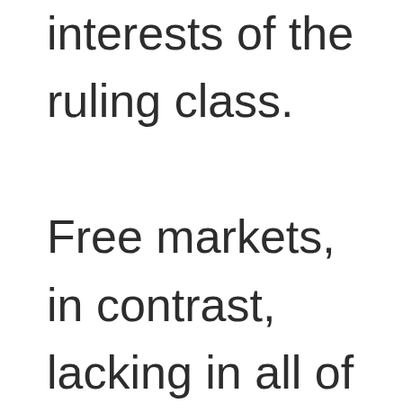interests of the ruling class. Free markets, in contrast, lacking in all of the inherent failings of politics,